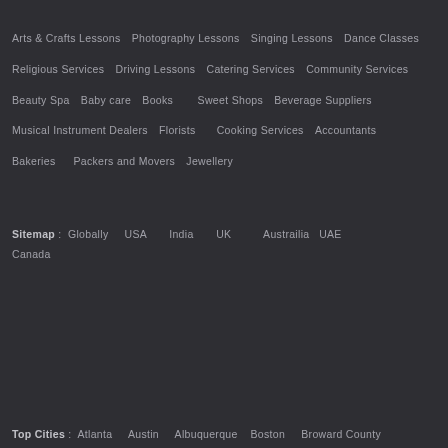Arts & Crafts Lessons   Photography Lessons   Singing Lessons   Dance Classes
Religious Services   Driving Lessons   Catering Services   Community Services
Beauty Spa   Baby care   Books   Sweet Shops   Beverage Suppliers
Musical Instrument Dealers   Florists   Cooking Services   Accountants
Bakeries   Packers and Movers   Jewellery
Sitemap : Globally   USA   India   UK   Austrailia   UAE
Canada
Top Cities : Atlanta   Austin   Albuquerque   Boston   Broward County